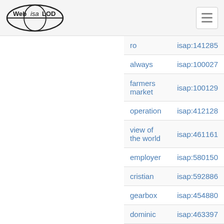[Figure (logo): Web ISA LOD globe logo with text]
| ro | isap:141285 |
| always | isap:100027 |
| farmers market | isap:100129 |
| operation | isap:412128 |
| view of the world | isap:461161 |
| employer | isap:580150 |
| cristian | isap:592886 |
| gearbox | isap:454880 |
| dominic | isap:463397 |
| delay | isap:294745 |
| altogether | isap:282495 |